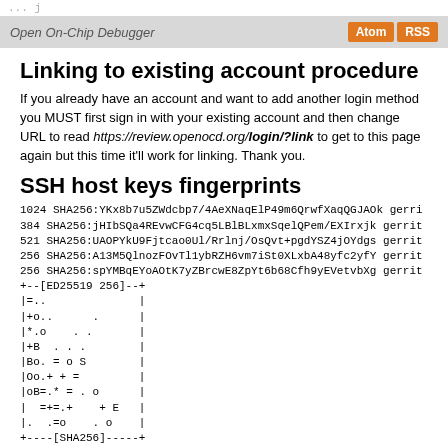...j
Open On-Chip Debugger | Atom | RSS
Linking to existing account procedure
If you already have an account and want to add another login method you MUST first sign in with your existing account and then change URL to read https://review.openocd.org/login/?link to get to this page again but this time it'll work for linking. Thank you.
SSH host keys fingerprints
1024 SHA256:YKx8b7u5ZWdcbp7/4AeXNaqElP49m6QrwfXaqQGJAOk gerri
384 SHA256:jHIbSQa4REvwCFG4cq5LBlBLxmxSqelQPem/EXIrxjk gerrit
521 SHA256:UAOPYkU9Fjtcao0Ul/Rrlnj/OsQvt+pgdYSZ4jOYdgs gerrit
256 SHA256:A13M5QlnozFOvTl1ybRZH6vm7iSt0XLxbA48yfc2yfY gerrit
256 SHA256:spYMBqEYoAOtK7yZBrcwE8ZpYt6b68Cfh9yEVetvbXg gerrit
+--[ED25519 256]--+
|=..              |
|+o..      .      |
|*.o    . .       |
|+B  . . .        |
|Bo. = o S        |
|Oo.+ + =         |
|oB=.* = . o      |
|  =+=.+    + E   |
|.  .=o    . o    |
+----[SHA256]-----+